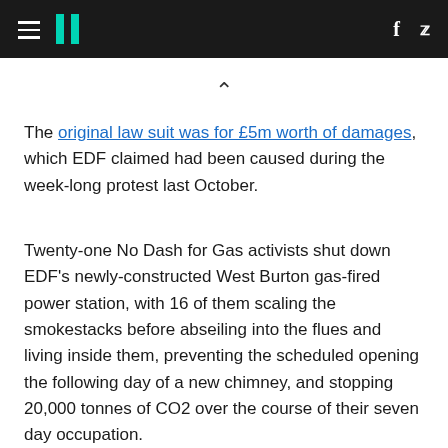HuffPost [hamburger menu, logo, social icons f, twitter]
The original law suit was for £5m worth of damages, which EDF claimed had been caused during the week-long protest last October.
Twenty-one No Dash for Gas activists shut down EDF's newly-constructed West Burton gas-fired power station, with 16 of them scaling the smokestacks before abseiling into the flues and living inside them, preventing the scheduled opening the following day of a new chimney, and stopping 20,000 tonnes of CO2 over the course of their seven day occupation.